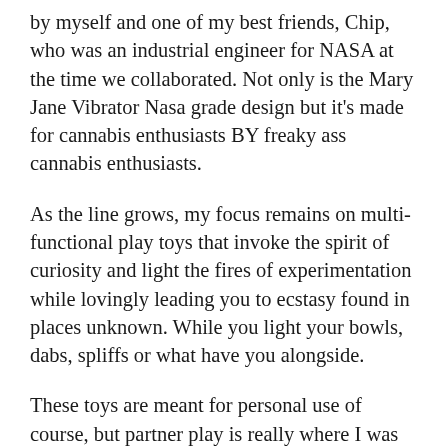by myself and one of my best friends, Chip, who was an industrial engineer for NASA at the time we collaborated. Not only is the Mary Jane Vibrator Nasa grade design but it's made for cannabis enthusiasts BY freaky ass cannabis enthusiasts.
As the line grows, my focus remains on multi-functional play toys that invoke the spirit of curiosity and light the fires of experimentation while lovingly leading you to ecstasy found in places unknown. While you light your bowls, dabs, spliffs or what have you alongside.
These toys are meant for personal use of course, but partner play is really where I was hoping they'd be utilized most. I have designed items that look fun, aren't overly girly, have multi-applications and above all scream WEED!